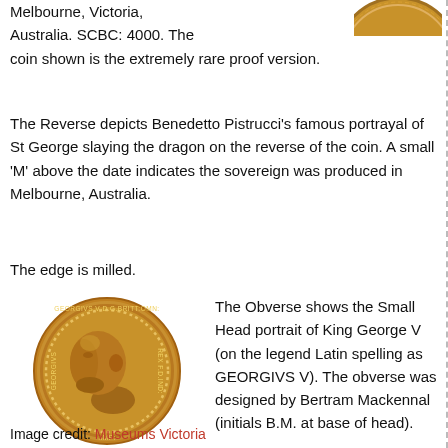Melbourne, Victoria, Australia. SCBC: 4000. The coin shown is the extremely rare proof version.
[Figure (photo): Partial view of a gold coin (reverse), partially cropped at top right]
The Reverse depicts Benedetto Pistrucci's famous portrayal of St George slaying the dragon on the reverse of the coin. A small 'M' above the date indicates the sovereign was produced in Melbourne, Australia.
The edge is milled.
[Figure (photo): Gold coin showing the obverse with portrait of King George V, with Latin legend GEORGIVS V D.G.BRITT:OMN:REX F.D.IND:IMP:]
The Obverse shows the Small Head portrait of King George V (on the legend Latin spelling as GEORGIVS V). The obverse was designed by Bertram Mackennal (initials B.M. at base of head).
Image credit: Museums Victoria